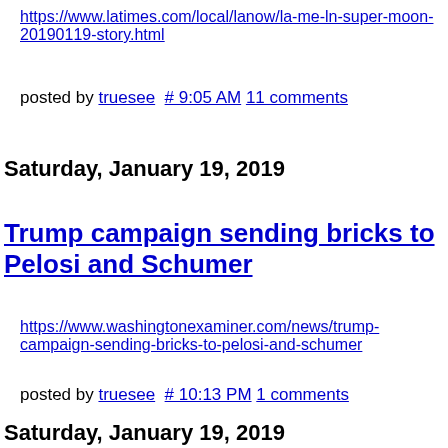https://www.latimes.com/local/lanow/la-me-ln-super-moon-20190119-story.html
posted by truesee  # 9:05 AM  11 comments
Saturday, January 19, 2019
Trump campaign sending bricks to Pelosi and Schumer
https://www.washingtonexaminer.com/news/trump-campaign-sending-bricks-to-pelosi-and-schumer
posted by truesee  # 10:13 PM  1 comments
Saturday, January 19, 2019